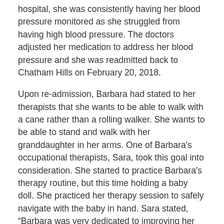hospital, she was consistently having her blood pressure monitored as she struggled from having high blood pressure. The doctors adjusted her medication to address her blood pressure and she was readmitted back to Chatham Hills on February 20, 2018.
Upon re-admission, Barbara had stated to her therapists that she wants to be able to walk with a cane rather than a rolling walker. She wants to be able to stand and walk with her granddaughter in her arms. One of Barbara's occupational therapists, Sara, took this goal into consideration. She started to practice Barbara's therapy routine, but this time holding a baby doll. She practiced her therapy session to safely navigate with the baby in hand. Sara stated, “Barbara was very dedicated to improving her functional mobility. She made strides to reach the goals that she had.”
Unfortunately, on February 5, Barbara slipped and fell and suffered a decline in therapy. She initially started therapy walking 350 feet with a rolling walker. After her fall, she was